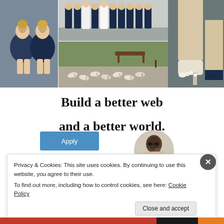[Figure (photo): Collage of wedding photos: two women in navy dresses seated (left), group of bridesmaids standing outside (center top), high heels arranged on pavement outside (center bottom), close-up of decorated heels on feet (right)]
Build a better web and a better world.
[Figure (illustration): Apply button (blue rectangle labeled Apply) and a circular portrait photo of a man wearing sunglasses in contemplative pose]
Privacy & Cookies: This site uses cookies. By continuing to use this website, you agree to their use.
To find out more, including how to control cookies, see here: Cookie Policy
Close and accept